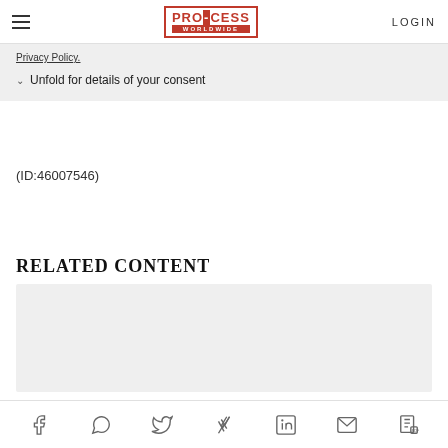PRO-CESS WORLDWIDE | LOGIN
Privacy Policy.
Unfold for details of your consent
(ID:46007546)
RELATED CONTENT
Social share icons: Facebook, WhatsApp, Twitter, Xing, LinkedIn, Email, PDF